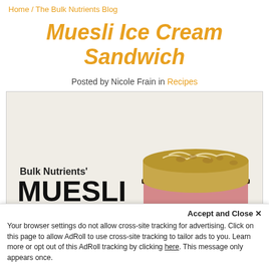Home / The Bulk Nutrients Blog
Muesli Ice Cream Sandwich
Posted by Nicole Frain in Recipes
[Figure (photo): Promotional image for Bulk Nutrients Muesli Ice Cream Sandwich recipe, showing a muesli-coated ice cream sandwich with pink ice cream filling, with large bold text reading 'Bulk Nutrients' MUESLI ICE CREAM SANDWICH' in black and orange]
Accept and Close ✕
Your browser settings do not allow cross-site tracking for advertising. Click on this page to allow AdRoll to use cross-site tracking to tailor ads to you. Learn more or opt out of this AdRoll tracking by clicking here. This message only appears once.